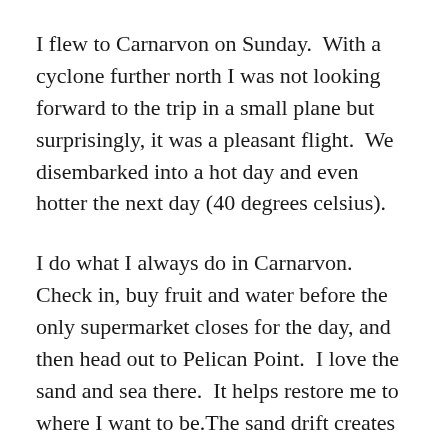I flew to Carnarvon on Sunday.  With a cyclone further north I was not looking forward to the trip in a small plane but surprisingly, it was a pleasant flight.  We disembarked into a hot day and even hotter the next day (40 degrees celsius).
I do what I always do in Carnarvon.  Check in, buy fruit and water before the only supermarket closes for the day, and then head out to Pelican Point.  I love the sand and sea there.  It helps restore me to where I want to be.The sand drift creates amazing dunes.  I've posted a pic in the previous post.  I sit for a few minutes enjoying the sea sculpt the land around me and then from the safety of my car